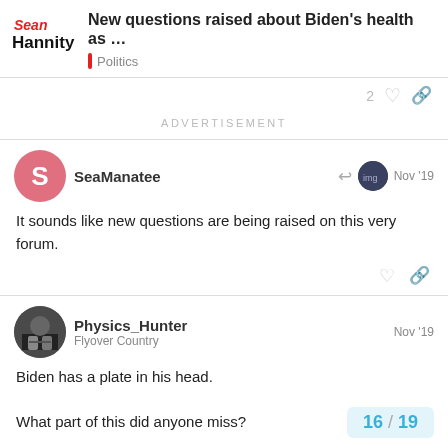New questions raised about Biden's health as ... | Politics | Sean Hannity
ADVERTISEMENT
SeaManatee — Nov '19
It sounds like new questions are being raised on this very forum.
Physics_Hunter — Flyover Country — Nov '19
Biden has a plate in his head.

What part of this did anyone miss?
16 / 19